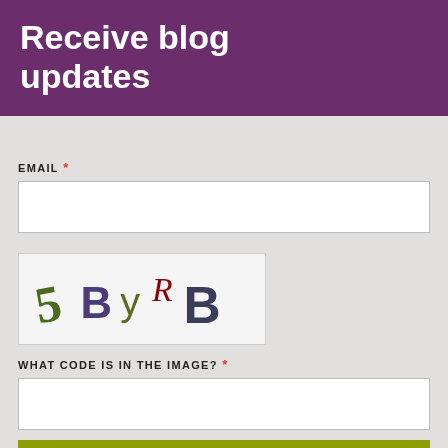Receive blog updates
EMAIL *
[Figure (other): CAPTCHA image showing distorted characters: 5 B Y R B in various colors and styles]
WHAT CODE IS IN THE IMAGE? *
SUBSCRIBE